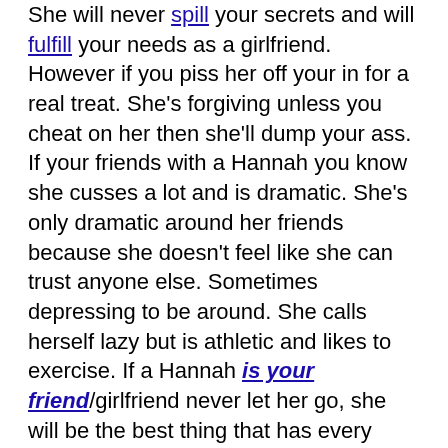She will never spill your secrets and will fulfill your needs as a girlfriend. However if you piss her off your in for a real treat. She's forgiving unless you cheat on her then she'll dump your ass. If your friends with a Hannah you know she cusses a lot and is dramatic. She's only dramatic around her friends because she doesn't feel like she can trust anyone else. Sometimes depressing to be around. She calls herself lazy but is athletic and likes to exercise. If a Hannah is your friend/girlfriend never let her go, she will be the best thing that has every happened to you.
Guy 1: "That girl is a fucking Hannah I'm jealous of that dude."
Guy 2: "I know right she's so hot."